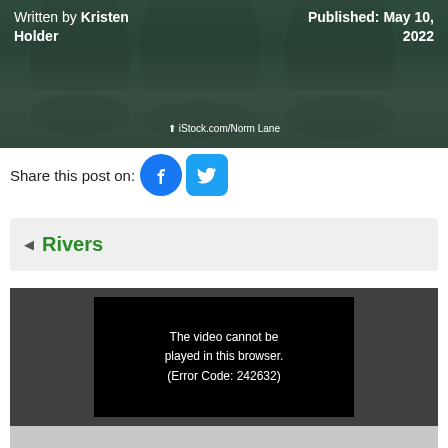[Figure (photo): Header background image showing a river/water scene with dark overlay]
Written by Kristen Holder | Published: May 10, 2022
iStock.com/Norm Lane
Share this post on:
[Figure (logo): Facebook and Twitter share icons]
◄ Rivers
[Figure (screenshot): Video player showing error: The video cannot be played in this browser. (Error Code: 242632)]